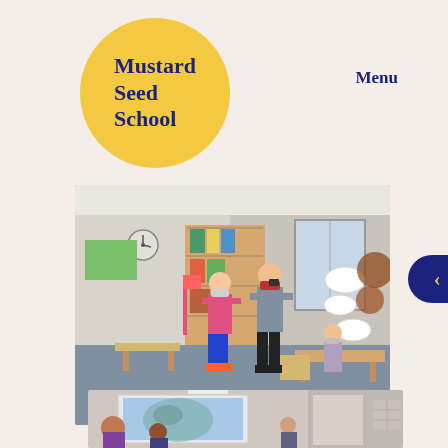[Figure (logo): Mustard Seed School logo: yellow circle with dark navy bold text reading Mustard Seed School]
Menu
[Figure (photo): Classroom photo showing students wearing masks, standing and interacting in a classroom with shelves, desks, chairs, and educational materials on walls]
[Figure (photo): Partial classroom photo showing students seated watching a projected image on a whiteboard screen]